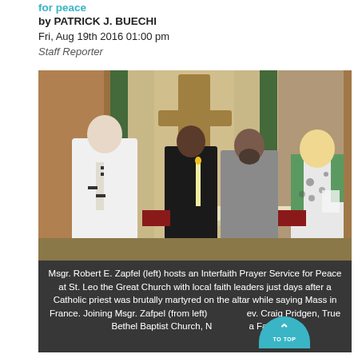for peace
by PATRICK J. BUECHI
Fri, Aug 19th 2016 01:00 pm
Staff Reporter
[Figure (photo): Four people standing at the altar of a Catholic church: a priest in white vestments on the left, a man in a black suit holding a candle, a man in a gray robe with a beard, and a woman in a floral dress on the right. A large crucifix is visible behind them. Flowers are on the right side.]
Msgr. Robert E. Zapfel (left) hosts an Interfaith Prayer Service for Peace at St. Leo the Great Church with local faith leaders just days after a Catholic priest was brutally martyred on the altar while saying Mass in France. Joining Msgr. Zafpel (from left) Rev. Craig Pridgen, True Bethel Baptist Church, N a Falls;